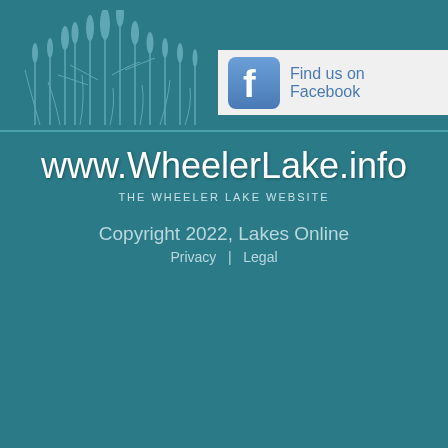[Figure (illustration): Decorative illustration of cattail reeds/marsh plants in a lighter teal silhouette style on teal background, positioned in the upper left of the header]
[Figure (logo): Facebook 'Find us on Facebook' banner with blue Facebook 'f' icon button on a light gray/white background, positioned in the upper right]
www.WheelerLake.info
THE WHEELER LAKE WEBSITE
Copyright 2022, Lakes Online
Privacy  |  Legal